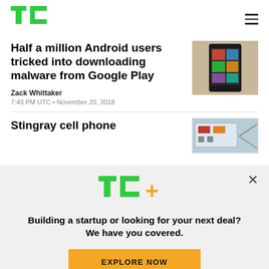TechCrunch
Half a million Android users tricked into downloading malware from Google Play
Zack Whittaker
7:43 PM UTC • November 20, 2018
[Figure (photo): Smartphone screen showing Google Play app]
Stingray cell phone
[Figure (photo): Stingray device or related equipment]
[Figure (logo): TechCrunch TC+ logo overlay]
Building a startup or looking for your next deal? We have you covered.
EXPLORE NOW